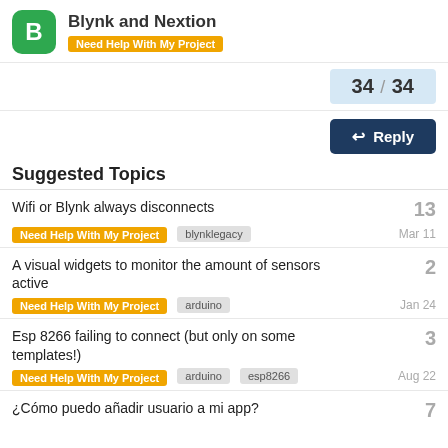Blynk and Nextion — Need Help With My Project
34 / 34
Reply
Suggested Topics
Wifi or Blynk always disconnects — Need Help With My Project, blynklegacy — 13 — Mar 11
A visual widgets to monitor the amount of sensors active — Need Help With My Project, arduino — 2 — Jan 24
Esp 8266 failing to connect (but only on some templates!) — Need Help With My Project, arduino, esp8266 — 3 — Aug 22
¿Cómo puedo añadir usuario a mi app? — 7